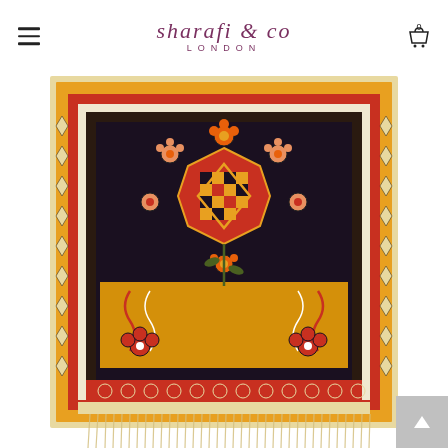sharafi & co LONDON
[Figure (photo): A traditional Persian/Caucasian hand-knotted wool rug with a dark navy/black central field featuring a large medallion with checkerboard pattern, surrounded by colorful floral motifs in orange, red, yellow, and green. The border is red with diamond patterns in ivory and yellow. The lower section has a yellow/gold field with floral decorations. The rug has cream fringe at the bottom.]